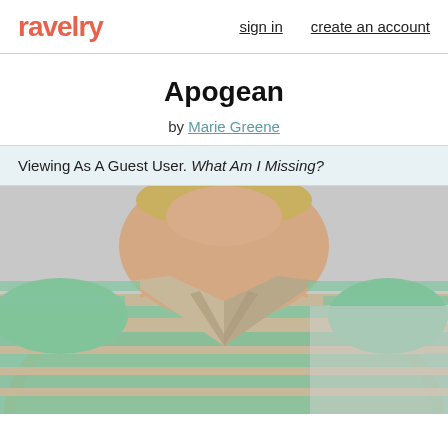ravelry  sign in  create an account
Apogean
by Marie Greene
Viewing As A Guest User. What Am I Missing?
[Figure (photo): A person wearing a green and tan striped short-sleeve v-neck knitted sweater, shown from the neck down to the waist.]